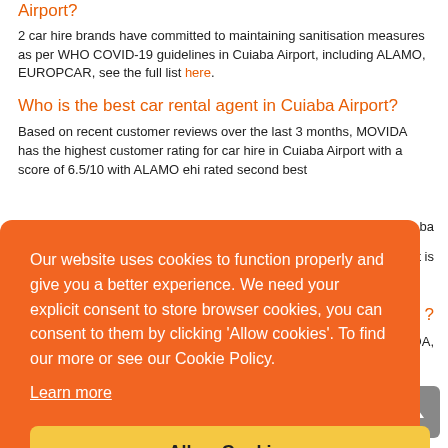What car hire companies offer sanitised car rental in Cuiaba Airport?
2 car hire brands have committed to maintaining sanitisation measures as per WHO COVID-19 guidelines in Cuiaba Airport, including ALAMO, EUROPCAR, see the full list here.
Who is the best car rental agent in Cuiaba Airport?
Based on recent customer reviews over the last 3 months, MOVIDA has the highest customer rating for car hire in Cuiaba Airport with a score of 6.5/10 with ALAMO ehi rated second best
ba
ort is
?
DA,
[Figure (infographic): Cookie consent overlay with orange background. Text reads: 'Our website uses cookies to function properly and give you a better experience. We need your explicit consent to store browser cookies, you can consent to them by clicking Allow cookies. To find our more or see our Cookie Policy.' with a 'Learn more' underlined link and a yellow 'Allow Cookies' button.]
How much is fuel in Cuiaba Airport?